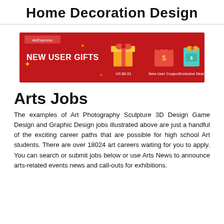Home Decoration Design
[Figure (infographic): AliExpress advertisement banner with red background showing 'NEW USER GIFTS' text on left, and three gift box icons labeled 'US $0.01', 'New User Coupon', and 'Exclusive Deal']
Arts Jobs
The examples of Art Photography Sculpture 3D Design Game Design and Graphic Design jobs illustrated above are just a handful of the exciting career paths that are possible for high school Art students. There are over 18024 art careers waiting for you to apply. You can search or submit jobs below or use Arts News to announce arts-related events news and call-outs for exhibitions.